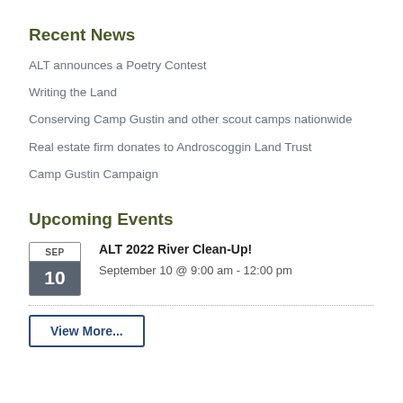Recent News
ALT announces a Poetry Contest
Writing the Land
Conserving Camp Gustin and other scout camps nationwide
Real estate firm donates to Androscoggin Land Trust
Camp Gustin Campaign
Upcoming Events
ALT 2022 River Clean-Up! September 10 @ 9:00 am - 12:00 pm
View More...